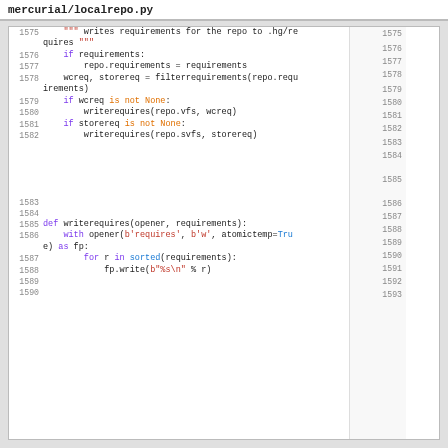mercurial/localrepo.py
Code listing showing Python source lines 1575-1590 with line numbers on both sides. Left column shows line numbers and code, right column shows corresponding line numbers.